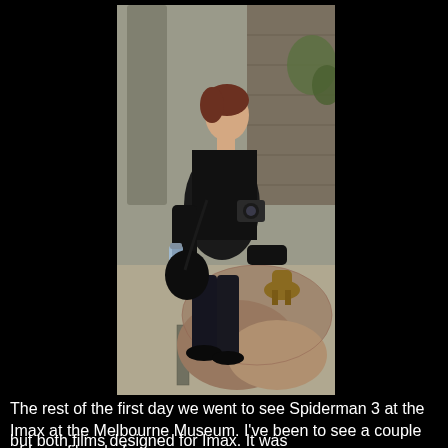[Figure (photo): A woman dressed in black coat sits on a large rock, holding a water bottle, with a camera hanging around her neck. She appears to be interacting with a small bronze animal statue on the rock. Behind her is a concrete pillar and greenery, suggesting an outdoor museum or zoo setting.]
The rest of the first day we went to see Spiderman 3 at the Imax at the Melbourne Museum. I've been to see a couple of Imax films before,
but both films designed for Imax. It was